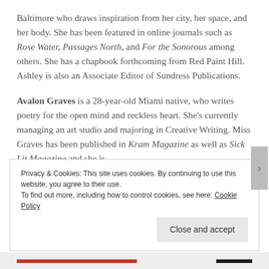Baltimore who draws inspiration from her city, her space, and her body. She has been featured in online journals such as Rose Water, Passages North, and For the Sonorous among others. She has a chapbook forthcoming from Red Paint Hill. Ashley is also an Associate Editor of Sundress Publications.
Avalon Graves is a 28-year-old Miami native, who writes poetry for the open mind and reckless heart. She's currently managing an art studio and majoring in Creative Writing. Miss Graves has been published in Kram Magazine as well as Sick Lit Magazine and she is
Privacy & Cookies: This site uses cookies. By continuing to use this website, you agree to their use. To find out more, including how to control cookies, see here: Cookie Policy